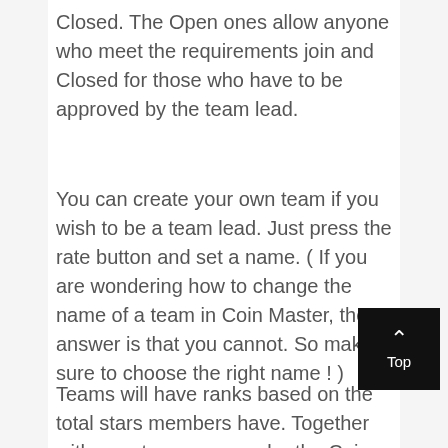Closed. The Open ones allow anyone who meet the requirements join and Closed for those who have to be approved by the team lead.
You can create your own team if you wish to be a team lead. Just press the rate button and set a name. ( If you are wondering how to change the name of a team in Coin Master, the answer is that you cannot. So make sure to choose the right name ! )
Teams will have ranks based on the total stars members have. Together with your team you can be the Coin